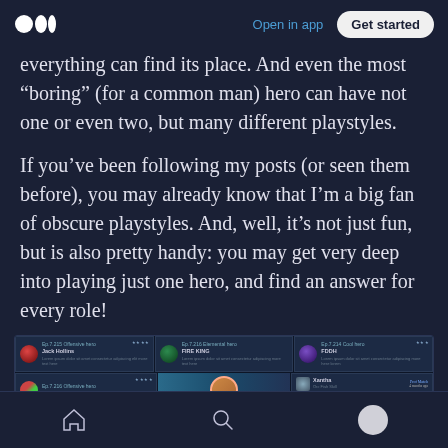Medium logo | Open in app | Get started
everything can find its place. And even the most “boring” (for a common man) hero can have not one or even two, but many different playstyles.
If you’ve been following my posts (or seen them before), you may already know that I’m a big fan of obscure playstyles. And, well, it’s not just fun, but is also pretty handy: you may get very deep into playing just one hero, and find an answer for every role!
[Figure (screenshot): Screenshot of a mobile game UI showing hero cards with icons, names, star ratings, and a video/gameplay bar]
Bottom navigation bar with home, search, and profile icons